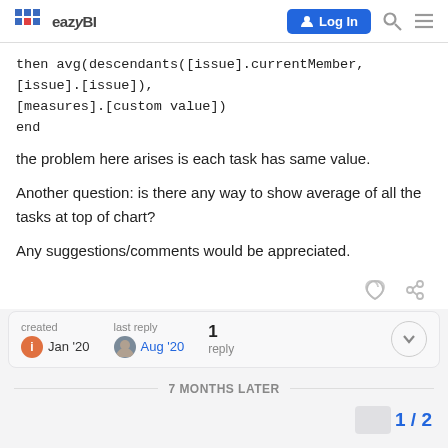eazyBI | Log In
then avg(descendants([issue].currentMember, [issue].[issue]), [measures].[custom value])
end
the problem here arises is each task has same value.
Another question: is there any way to show average of all the tasks at top of chart?
Any suggestions/comments would be appreciated.
created Jan '20 | last reply Aug '20 | 1 reply
7 MONTHS LATER
1 / 2